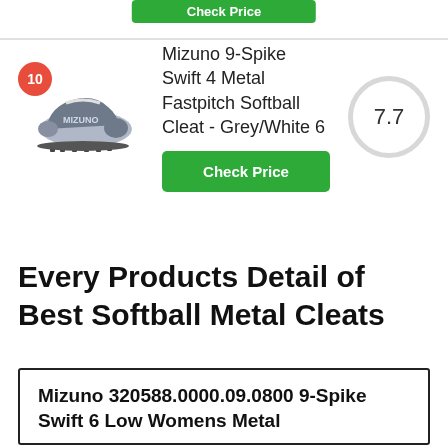[Figure (screenshot): Green 'Check Price' button at the top of the page (partial, cropped)]
[Figure (photo): Mizuno 9-Spike Swift 4 Metal Fastpitch Softball Cleat - grey and white athletic cleat shoe, with red badge showing number 10]
Mizuno 9-Spike Swift 4 Metal Fastpitch Softball Cleat - Grey/White 6
[Figure (infographic): Score circle showing 7.7 rating]
Check Price
Every Products Detail of Best Softball Metal Cleats
Mizuno 320588.0000.09.0800 9-Spike Swift 6 Low Womens Metal